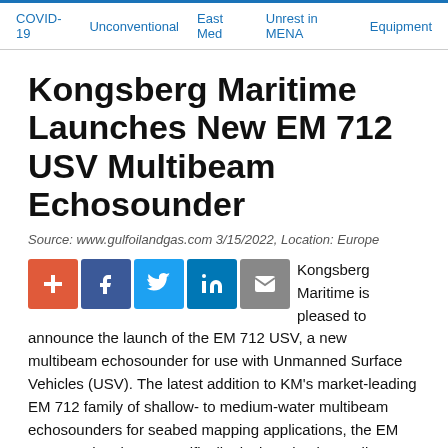COVID-19 | Unconventional | East Med | Unrest in MENA | Equipment
Kongsberg Maritime Launches New EM 712 USV Multibeam Echosounder
Source: www.gulfoilandgas.com 3/15/2022, Location: Europe
Kongsberg Maritime is pleased to announce the launch of the EM 712 USV, a new multibeam echosounder for use with Unmanned Surface Vehicles (USV). The latest addition to KM's market-leading EM 712 family of shallow- to medium-water multibeam echosounders for seabed mapping applications, the EM 712 USV has been specifically designed to be easily integrated with and operated from any USV. It features a subsea container housing redesigned electronics, which would normally be located on the topside of a